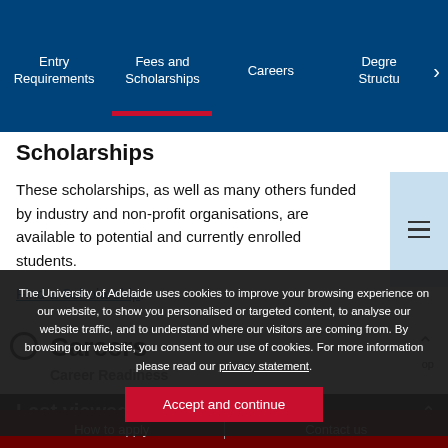Entry Requirements | Fees and Scholarships | Careers | Degree Structure
Scholarships
These scholarships, as well as many others funded by industry and non-profit organisations, are available to potential and currently enrolled students.
Find a Scholarship.
Careers
The University of Adelaide uses cookies to improve your browsing experience on our website, to show you personalised or targeted content, to analyse our website traffic, and to understand where our visitors are coming from. By browsing our website, you consent to our use of cookies. For more information please read our privacy statement.
Accept and continue
Career Readiness
Last viewed degrees
How to apply  |  Contact us